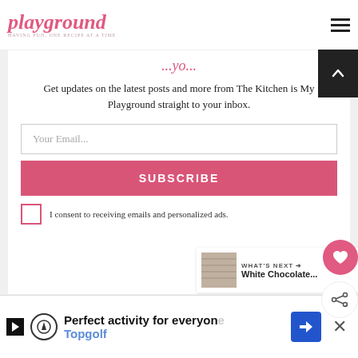The Kitchen is My Playground
Get updates on the latest posts and more from The Kitchen is My Playground straight to your inbox.
[Figure (screenshot): Email subscription form with input field, subscribe button, and consent checkbox]
Perfect activity for everyone Topgolf